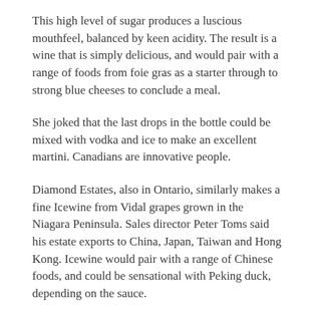This high level of sugar produces a luscious mouthfeel, balanced by keen acidity. The result is a wine that is simply delicious, and would pair with a range of foods from foie gras as a starter through to strong blue cheeses to conclude a meal.
She joked that the last drops in the bottle could be mixed with vodka and ice to make an excellent martini. Canadians are innovative people.
Diamond Estates, also in Ontario, similarly makes a fine Icewine from Vidal grapes grown in the Niagara Peninsula. Sales director Peter Toms said his estate exports to China, Japan, Taiwan and Hong Kong. Icewine would pair with a range of Chinese foods, and could be sensational with Peking duck, depending on the sauce.
Norman Hardie at Norman Hardie Winery in Ontario received glowing attention in this column a year ago, and he continues to make delicious wines, focusing on cool climate grapes. His three Pinots and two Chardonnays tasted this week were excellent